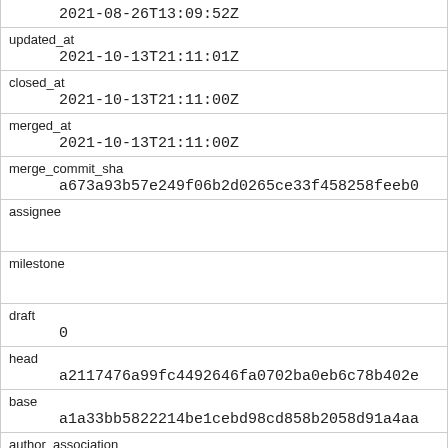| field | value |
| --- | --- |
|  | 2021-08-26T13:09:52Z |
| updated_at | 2021-10-13T21:11:01Z |
| closed_at | 2021-10-13T21:11:00Z |
| merged_at | 2021-10-13T21:11:00Z |
| merge_commit_sha | a673a93b57e249f06b2d0265ce33f458258feeb0 |
| assignee |  |
| milestone |  |
| draft | 0 |
| head | a2117476a99fc4492646fa0702ba0eb6c78b402e |
| base | a1a33bb5822214be1cebd98cd858b2058d91a4aa |
| author_association |  |